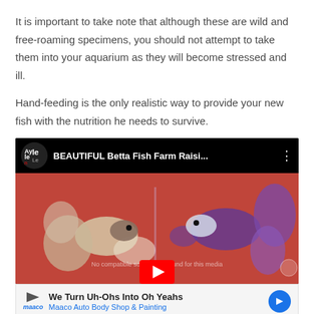It is important to take note that although these are wild and free-roaming specimens, you should not attempt to take them into your aquarium as they will become stressed and ill.
Hand-feeding is the only realistic way to provide your new fish with the nutrition he needs to survive.
[Figure (screenshot): YouTube video thumbnail showing two betta fish on a red background, with channel logo 'Kyle Le' and title 'BEAUTIFUL Betta Fish Farm Raisi...' in the video header bar. A 'No compatible source was found for this media' message overlays the video. A YouTube play button is visible at the bottom.]
[Figure (screenshot): Advertisement banner for Maaco Auto Body Shop & Painting with tagline 'We Turn Uh-Ohs Into Oh Yeahs']